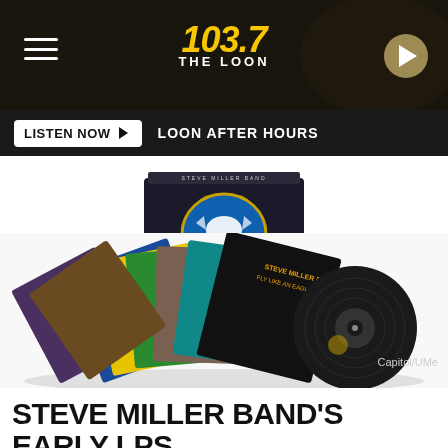103.7 THE LOON
LISTEN NOW ►  LOON AFTER HOURS
[Figure (photo): Steve Miller Band box set and vinyl LP collection product photo against white background, with Capitol/UMe credit in bottom right]
Capitol/UMe
STEVE MILLER BAND'S EARLY LPS